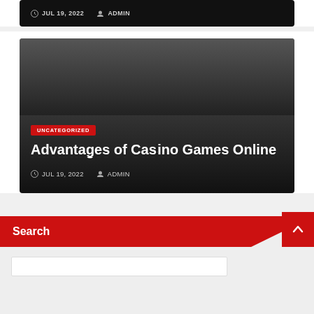JUL 19, 2022  ADMIN
[Figure (screenshot): Dark article card with category badge UNCATEGORIZED, title 'Advantages of Casino Games Online', and metadata showing JUL 19, 2022 and ADMIN]
UNCATEGORIZED
Advantages of Casino Games Online
JUL 19, 2022  ADMIN
Search